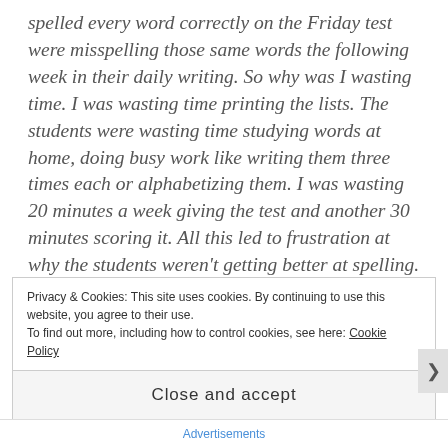spelled every word correctly on the Friday test were misspelling those same words the following week in their daily writing. So why was I wasting time. I was wasting time printing the lists. The students were wasting time studying words at home, doing busy work like writing them three times each or alphabetizing them. I was wasting 20 minutes a week giving the test and another 30 minutes scoring it. All this led to frustration at why the students weren't getting better at spelling. Then I remembered a familiar quote from Anthony Robins: “If you do what you’ve always done, you’ll get what you’ve always gotten.” I studied spelling lists for my entire elementary career and I just now had trouble spelling
Privacy & Cookies: This site uses cookies. By continuing to use this website, you agree to their use.
To find out more, including how to control cookies, see here: Cookie Policy
Close and accept
Advertisements